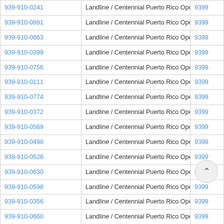| Phone | Type / Carrier | Code |
| --- | --- | --- |
| 939-910-0241 | Landline / Centennial Puerto Rico Operations Corp. | 9399 |
| 939-910-0881 | Landline / Centennial Puerto Rico Operations Corp. | 9399 |
| 939-910-0863 | Landline / Centennial Puerto Rico Operations Corp. | 9399 |
| 939-910-0399 | Landline / Centennial Puerto Rico Operations Corp. | 9399 |
| 939-910-0756 | Landline / Centennial Puerto Rico Operations Corp. | 9399 |
| 939-910-0111 | Landline / Centennial Puerto Rico Operations Corp. | 9399 |
| 939-910-0774 | Landline / Centennial Puerto Rico Operations Corp. | 9399 |
| 939-910-0372 | Landline / Centennial Puerto Rico Operations Corp. | 9399 |
| 939-910-0569 | Landline / Centennial Puerto Rico Operations Corp. | 9399 |
| 939-910-0498 | Landline / Centennial Puerto Rico Operations Corp. | 9399 |
| 939-910-0526 | Landline / Centennial Puerto Rico Operations Corp. | 9399 |
| 939-910-0630 | Landline / Centennial Puerto Rico Operations Corp. | 9399 |
| 939-910-0598 | Landline / Centennial Puerto Rico Operations Corp. | 9399 |
| 939-910-0356 | Landline / Centennial Puerto Rico Operations Corp. | 9399 |
| 939-910-0660 | Landline / Centennial Puerto Rico Operations Corp. | 9399 |
| 939-910-0071 | Landline / Centennial Puerto Rico Operations Corp. | 9399 |
| 939-910-0045 | Landline / Centennial Puerto Rico Operations Corp. | 9399 |
| 939-910-0994 | Landline / Centennial Puerto Rico Operations Corp. | 9399 |
| 939-910-0759 | Landline / Centennial Puerto Rico Operations Corp. | 9399 |